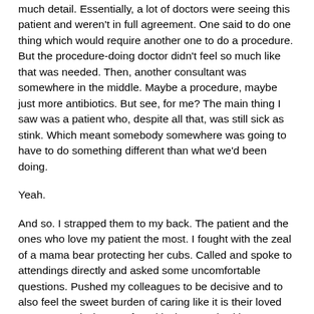much detail. Essentially, a lot of doctors were seeing this patient and weren't in full agreement. One said to do one thing which would require another one to do a procedure. But the procedure-doing doctor didn't feel so much like that was needed. Then, another consultant was somewhere in the middle. Maybe a procedure, maybe just more antibiotics. But see, for me? The main thing I saw was a patient who, despite all that, was still sick as stink. Which meant somebody somewhere was going to have to do something different than what we'd been doing.
Yeah.
And so. I strapped them to my back. The patient and the ones who love my patient the most. I fought with the zeal of a mama bear protecting her cubs. Called and spoke to attendings directly and asked some uncomfortable questions. Pushed my colleagues to be decisive and to also feel the sweet burden of caring like it is their loved one, too. And what I've found is that I work with some good, good people. These good, good people are very busy and often spread thin. But since they are good, good they are usually